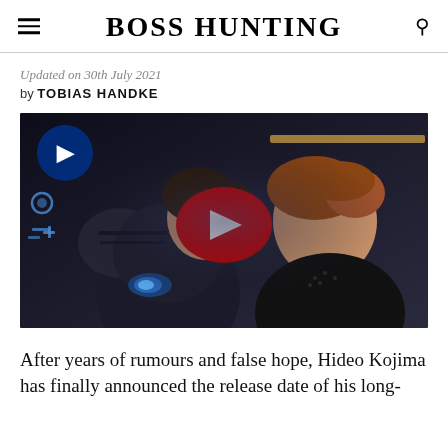BOSS HUNTING
Updated on 30th July 2021
by TOBIAS HANDKE
[Figure (screenshot): Video thumbnail showing two characters from a video game (Death Stranding 2), heads touching forehead-to-forehead. One character wears dark futuristic armor with blue glowing elements (Sam Porter Bridges), the other has short auburn hair and wears a black jacket. A PlayStation logo and blue decorative elements appear in the upper left. A red YouTube play button is centered on the image.]
After years of rumours and false hope, Hideo Kojima has finally announced the release date of his long-